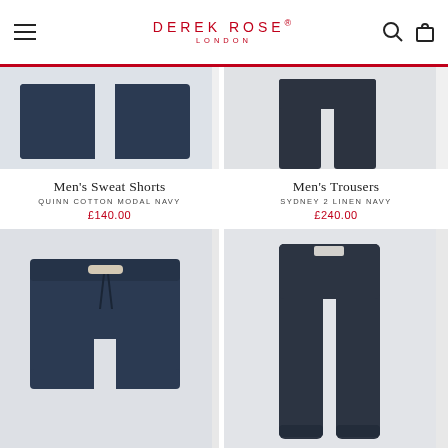DEREK ROSE® LONDON
[Figure (photo): Cropped view of Men's Sweat Shorts in navy]
[Figure (photo): Cropped view of Men's Trousers in navy]
Men's Sweat Shorts
QUINN COTTON MODAL NAVY
£140.00
Men's Trousers
SYDNEY 2 LINEN NAVY
£240.00
[Figure (photo): Men's Sweat Shorts Quinn Cotton Modal Navy product photo on light background]
[Figure (photo): Men's Trousers Sydney 2 Linen Navy product photo on light background]